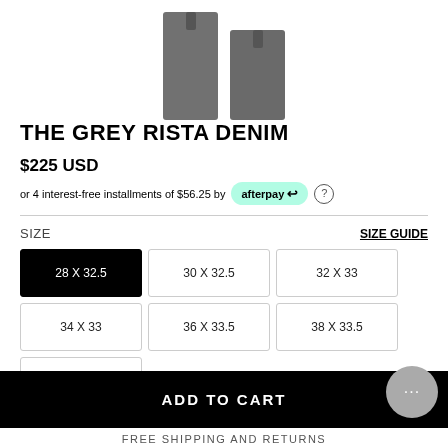[Figure (photo): Product photo of grey denim jeans showing two views (front and back) against white background, partially cropped at top]
THE GREY RISTA DENIM
$225 USD
or 4 interest-free installments of $56.25 by afterpay
SIZE
SIZE GUIDE
28 X 32.5 (selected)
30 X 32.5
32 X 33
34 X 33
36 X 33.5
38 X 33.5
40 X 34
ADD TO CART
FREE SHIPPING AND RETURNS